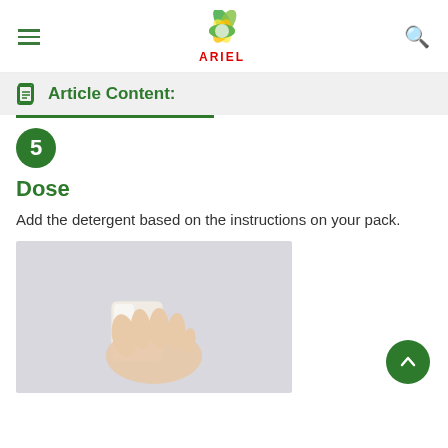ARIEL (logo and navigation header)
Article Content:
5 Dose
Add the detergent based on the instructions on your pack.
[Figure (photo): A hand holding a white measuring cup/cap for detergent against a light grey background.]